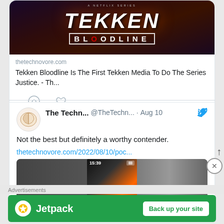[Figure (screenshot): Tekken Bloodline Netflix series promotional image with game characters and title logo]
thetechnovore.com
Tekken Bloodline Is The First Tekken Media To Do The Series Justice. - Th...
[Figure (screenshot): Tweet from The Techn... @TheTechn... Aug 10 with Twitter bird icon, brain avatar, text: Not the best but definitely a worthy contender. thetechnovore.com/2022/08/10/poc...]
[Figure (screenshot): Phone screen preview showing time 15:39 and an orange-lit device screen]
Advertisements
[Figure (screenshot): Jetpack advertisement banner with green background, Jetpack logo, and Back up your site button]